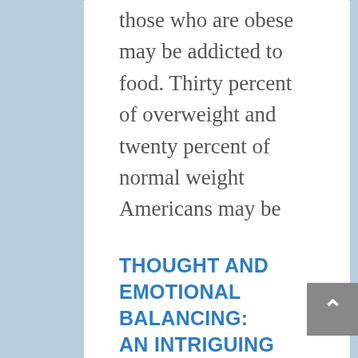those who are obese may be addicted to food. Thirty percent of overweight and twenty percent of normal weight Americans may be addicted to specific foods or food quantity in general. Food...
read more
THOUGHT AND EMOTIONAL BALANCING: AN INTRIGUING JOURNEY IN A COMPLEX WORLD
anxiety, brain mapping, depression, head injury, memory loss, stress
THOUGHT AND EMOTIONAL BALANCING: AN INTRIGUING JOURNEY IN A COMPLEX WORLD Most of us desire a peaceful and calm life free of stressful “mind chatter” and negative emotion clutter. But, to many people, this seems to be an impossible goal. Why does